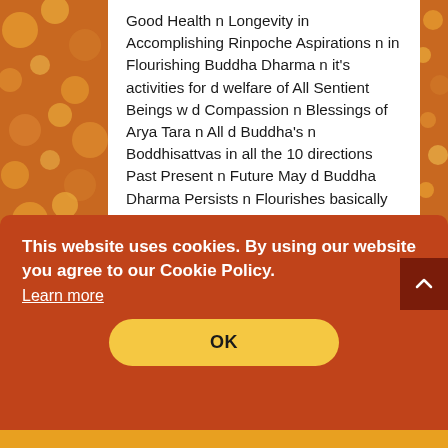Good Health n Longevity in Accomplishing Rinpoche Aspirations n in Flourishing Buddha Dharma n it's activities for d welfare of All Sentient Beings w d Compassion n Blessings of Arya Tara n All d Buddha's n Boddhisattvas in all the 10 directions Past Present n Future May d Buddha Dharma Persists n Flourishes basically due to Shunyata w Clarity n Ultimate Boddhicitta .Om Tare Tutara Ture Svoha
This website uses cookies. By using our website you agree to our Cookie Policy. Learn more
OK